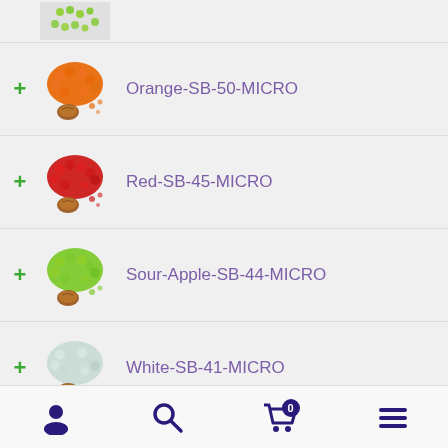[Figure (screenshot): Partial view of green/lime colored micro seed beads product image at top]
+ Orange-SB-50-MICRO
+ Red-SB-45-MICRO
+ Sour-Apple-SB-44-MICRO
+ White-SB-41-MICRO
+ Yellow-SB-42-MICRO
User icon | Search icon | Cart (0) | Menu icon